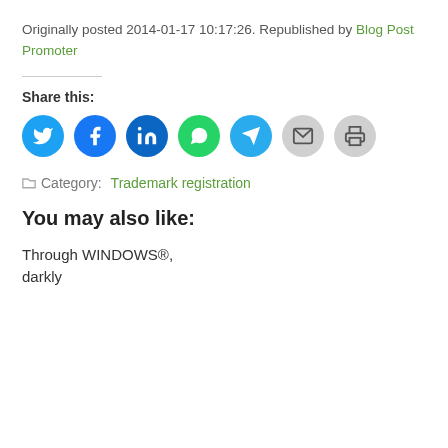Originally posted 2014-01-17 10:17:26. Republished by Blog Post Promoter
[Figure (infographic): Social sharing buttons: Twitter (blue), Facebook (blue), LinkedIn (dark blue), WhatsApp (green), Telegram (light blue), Email (grey), Print (grey)]
Category: Trademark registration
You may also like:
Through WINDOWS®, darkly